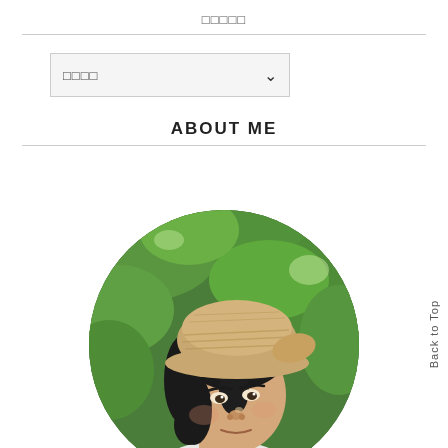□□□□□
□□□□ ▾
ABOUT ME
[Figure (photo): Circular cropped photo of a young Asian man wearing a tan/beige knit bucket hat, looking upward, with green trees/foliage in the background. He is wearing a white top.]
Back to Top